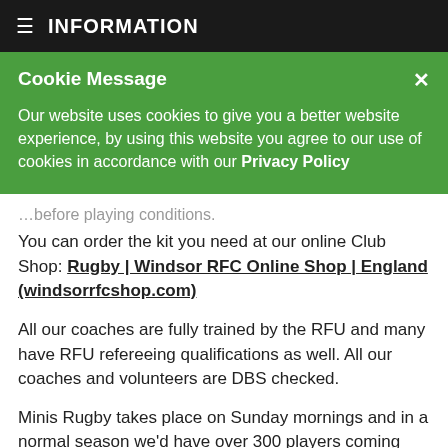INFORMATION
Cookie Message
Our website uses cookies to give you a better website experience, by using this website you agree to our use of cookies in accordance with our Privacy Policy
…before playing conditions.
You can order the kit you need at our online Club Shop: Rugby | Windsor RFC Online Shop | England (windsorrfcshop.com)
All our coaches are fully trained by the RFU and many have RFU refereeing qualifications as well. All our coaches and volunteers are DBS checked.
Minis Rugby takes place on Sunday mornings and in a normal season we'd have over 300 players coming down to Home Park or travelling to other local clubs for fixtures. Sessions start at 10.00 am and finish around